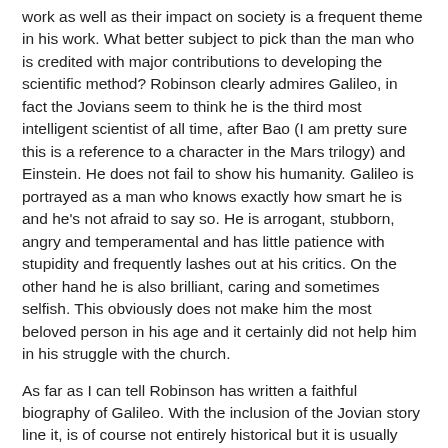work as well as their impact on society is a frequent theme in his work. What better subject to pick than the man who is credited with major contributions to developing the scientific method? Robinson clearly admires Galileo, in fact the Jovians seem to think he is the third most intelligent scientist of all time, after Bao (I am pretty sure this is a reference to a character in the Mars trilogy) and Einstein. He does not fail to show his humanity. Galileo is portrayed as a man who knows exactly how smart he is and he's not afraid to say so. He is arrogant, stubborn, angry and temperamental and has little patience with stupidity and frequently lashes out at his critics. On the other hand he is also brilliant, caring and sometimes selfish. This obviously does not make him the most beloved person in his age and it certainly did not help him in his struggle with the church.
As far as I can tell Robinson has written a faithful biography of Galileo. With the inclusion of the Jovian story line it, is of course not entirely historical but it is usually quite clear where Robinson switches from historical to purely fictional. A lot of Galileo's correspondence has survived and Robinson quotes liberally from the letters from and to him. The